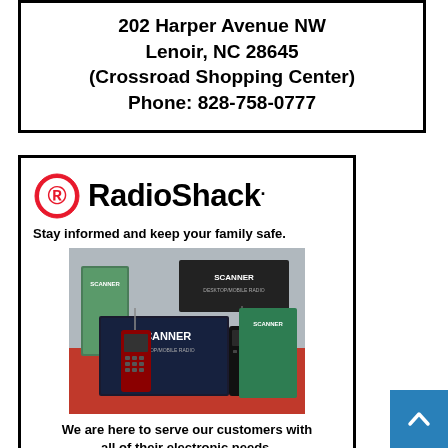202 Harper Avenue NW
Lenoir, NC 28645
(Crossroad Shopping Center)
Phone: 828-758-0777
[Figure (logo): RadioShack logo with registered trademark circle-R icon and bold RadioShack wordmark]
Stay informed and keep your family safe.
[Figure (photo): Photo of multiple RadioShack scanner radios and product boxes on a red surface — includes handheld scanners and desktop/portable scanner boxes labeled SCANNER]
We are here to serve our customers with all of their electronic needs.